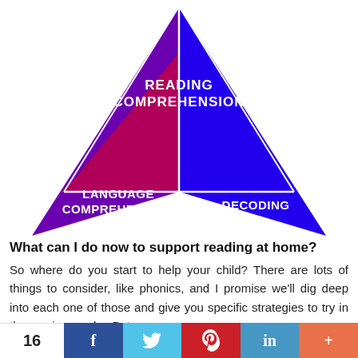[Figure (infographic): Triangle diagram showing the Simple View of Reading: three colored triangle sections — dark red top (Reading Comprehension), purple bottom-left (Language Comprehension), blue bottom-right (Decoding), with a magenta/pink center inverted triangle.]
What can I do now to support reading at home?
So where do you start to help your child? There are lots of things to consider, like phonics, and I promise we'll dig deep into each one of those and give you specific strategies to try in the coming weeks. But
16  f  [twitter]  [pinterest]  in  +